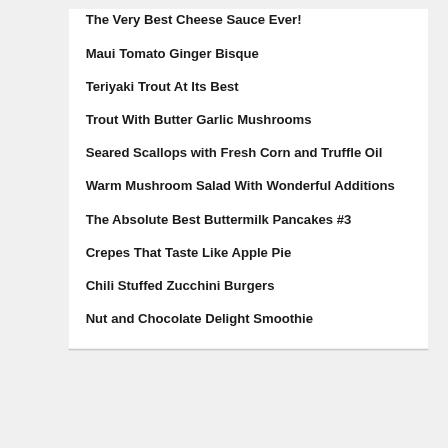The Very Best Cheese Sauce Ever!
Maui Tomato Ginger Bisque
Teriyaki Trout At Its Best
Trout With Butter Garlic Mushrooms
Seared Scallops with Fresh Corn and Truffle Oil
Warm Mushroom Salad With Wonderful Additions
The Absolute Best Buttermilk Pancakes #3
Crepes That Taste Like Apple Pie
Chili Stuffed Zucchini Burgers
Nut and Chocolate Delight Smoothie